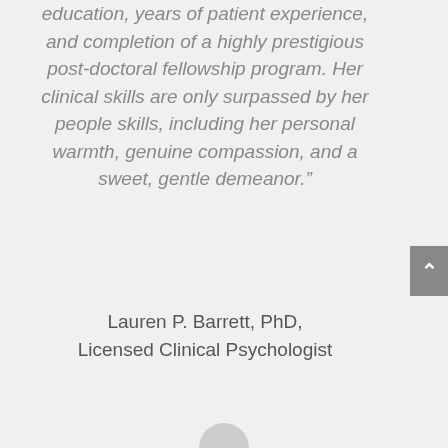education, years of patient experience, and completion of a highly prestigious post-doctoral fellowship program. Her clinical skills are only surpassed by her people skills, including her personal warmth, genuine compassion, and a sweet, gentle demeanor."
Lauren P. Barrett, PhD, Licensed Clinical Psychologist